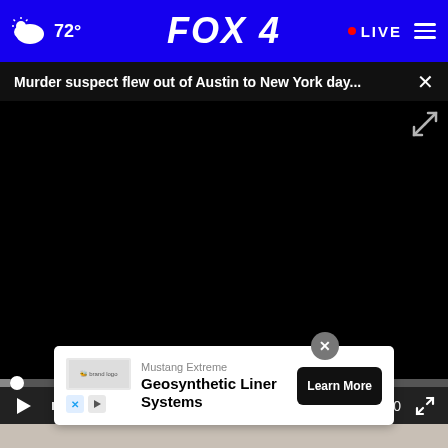72° FOX 4 • LIVE
Murder suspect flew out of Austin to New York day...
[Figure (screenshot): Black video player area with progress bar and controls showing 00:00 timestamp]
[Figure (photo): Partial article thumbnail image below video player]
[Figure (infographic): Advertisement overlay: Mustang Extreme Geosynthetic Liner Systems with Learn More button]